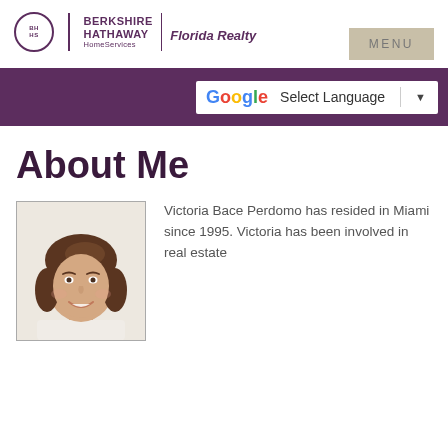BERKSHIRE HATHAWAY HomeServices | Florida Realty
[Figure (logo): Berkshire Hathaway HomeServices Florida Realty logo with circular emblem]
MENU
[Figure (screenshot): Google Translate Select Language dropdown bar on purple background]
About Me
[Figure (photo): Photo of Victoria Bace Perdomo, a woman with dark brown hair, smiling]
Victoria Bace Perdomo has resided in Miami since 1995. Victoria has been involved in real estate